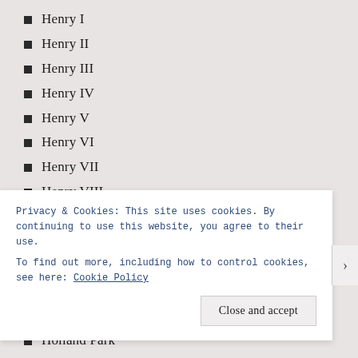Henry I
Henry II
Henry III
Henry IV
Henry V
Henry VI
Henry VII
Henry VIII
Highbury
Highgate
Historic Homes
Historic ships
Holborn
Holland Park
Privacy & Cookies: This site uses cookies. By continuing to use this website, you agree to their use.
To find out more, including how to control cookies, see here: Cookie Policy